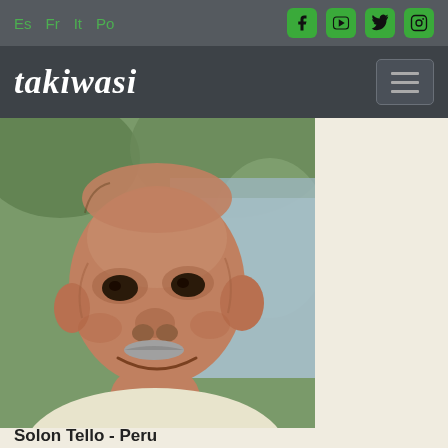Es Fr It Po — social links: Facebook, YouTube, Twitter, Instagram
takiwasi
[Figure (photo): Portrait photograph of an elderly man smiling, with a grey mustache, wearing a light-coloured shirt, with green foliage in the background]
Solon Tello - Peru